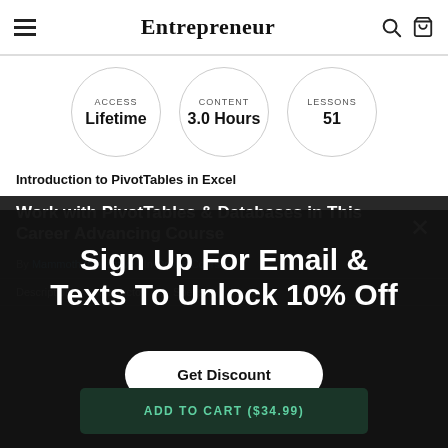Entrepreneur
[Figure (infographic): Three circles showing course metadata: ACCESS Lifetime, CONTENT 3.0 Hours, LESSONS 51]
Introduction to PivotTables in Excel
Work with PivotTables & Databases in This Career Advancing Course
By Mammoth Interactive | In Online Courses
Description | Instructor | Specs
Sign Up For Email & Texts To Unlock 10% Off
Get Discount
ADD TO CART ($34.99)